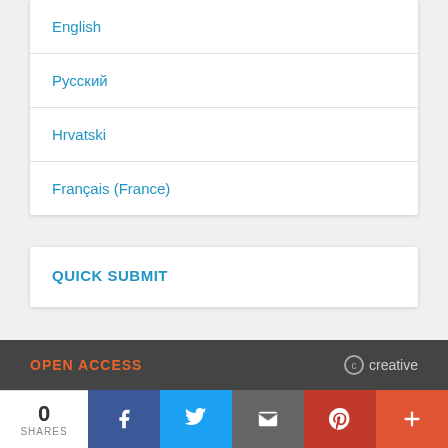English
Русский
Hrvatski
Français (France)
QUICK SUBMIT
[Figure (screenshot): Dark footer bar with OPEN ACCESS text in orange and creative commons icon with 'creative' text]
0 SHARES | Facebook | Twitter | Email | Pinterest | More